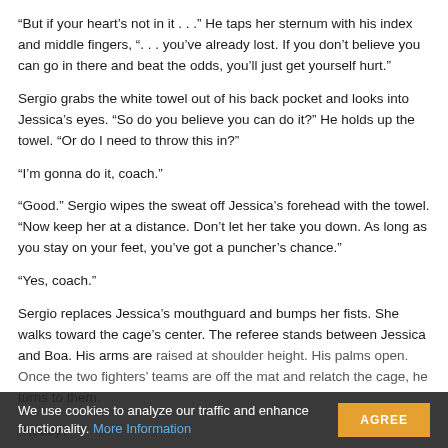“But if your heart’s not in it . . .” He taps her sternum with his index and middle fingers, “. . . you’ve already lost. If you don’t believe you can go in there and beat the odds, you’ll just get yourself hurt.”
Sergio grabs the white towel out of his back pocket and looks into Jessica’s eyes. “So do you believe you can do it?” He holds up the towel. “Or do I need to throw this in?”
“I’m gonna do it, coach.”
“Good.” Sergio wipes the sweat off Jessica’s forehead with the towel. “Now keep her at a distance. Don’t let her take you down. As long as you stay on your feet, you’ve got a puncher’s chance.”
“Yes, coach.”
Sergio replaces Jessica’s mouthguard and bumps her fists. She walks toward the cage’s center. The referee stands between Jessica and Boa. His arms are raised at shoulder height. His palms open. Once the two fighters’ teams are off the mat and relatch the cage, he turns to them.
“Ready?”
They nod in turn, then touch gloves.
We use cookies to analyze our traffic and enhance functionality. More Information   AGREE